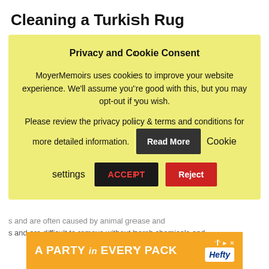Cleaning a Turkish Rug
[Figure (screenshot): Privacy and Cookie Consent modal overlay with yellow background. Contains heading 'Privacy and Cookie Consent', body text about MoyerMemoirs cookies, buttons: Read More (dark), Cookie settings (text), ACCEPT (black/red text), Reject (red).]
s and are difficult to remove without harsh chemicals and
[Figure (other): Advertisement banner: orange background with white text 'A PARTY in EVERY PACK' and Hefty logo]